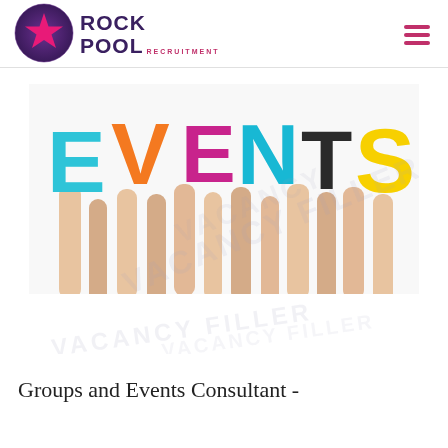[Figure (logo): Rock Pool Recruitment logo: circular purple/pink gradient with pink star, text ROCK POOL in dark purple with RECRUITMENT in pink]
[Figure (photo): Hands holding up large colorful letters spelling EVENTS against a white background. E is cyan/blue, V is orange, E is magenta/pink, N is cyan, T is dark grey/black, S is yellow.]
Groups and Events Consultant -